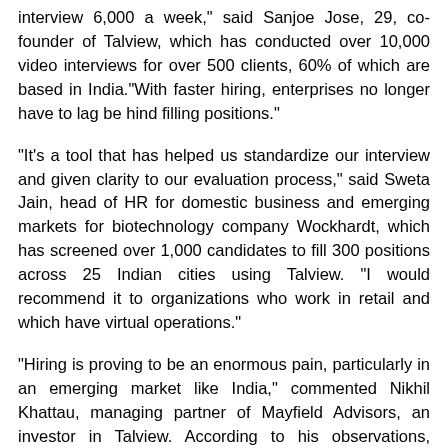interview 6,000 a week," said Sanjoe Jose, 29, co-founder of Talview, which has conducted over 10,000 video interviews for over 500 clients, 60% of which are based in India."With faster hiring, enterprises no longer have to lag be hind filling positions."
"It's a tool that has helped us standardize our interview and given clarity to our evaluation process," said Sweta Jain, head of HR for domestic business and emerging markets for biotechnology company Wockhardt, which has screened over 1,000 candidates to fill 300 positions across 25 Indian cities using Talview. "I would recommend it to organizations who work in retail and which have virtual operations."
"Hiring is proving to be an enormous pain, particularly in an emerging market like India," commented Nikhil Khattau, managing partner of Mayfield Advisors, an investor in Talview. According to his observations, companies using such recruitment services have improved efficiency by 50-80%. "You're in hyper-growth mode where you're staffing up very significantly because business volume is growing — this means you are virtually rebuilding the aircraft while it is